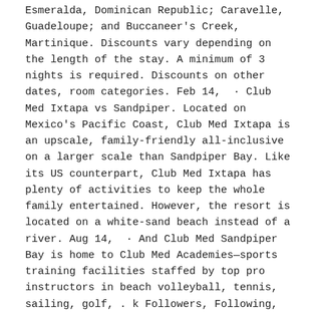Esmeralda, Dominican Republic; Caravelle, Guadeloupe; and Buccaneer's Creek, Martinique. Discounts vary depending on the length of the stay. A minimum of 3 nights is required. Discounts on other dates, room categories. Feb 14,  · Club Med Ixtapa vs Sandpiper. Located on Mexico's Pacific Coast, Club Med Ixtapa is an upscale, family-friendly all-inclusive on a larger scale than Sandpiper Bay. Like its US counterpart, Club Med Ixtapa has plenty of activities to keep the whole family entertained. However, the resort is located on a white-sand beach instead of a river. Aug 14,  · And Club Med Sandpiper Bay is home to Club Med Academies—sports training facilities staffed by top pro instructors in beach volleyball, tennis, sailing, golf, . k Followers, Following, Posts - See Instagram photos and videos from Club Med Sandpiper Bay Ψ (@clubmedsandpiperbay). Aug 25,  · Sharing our recent